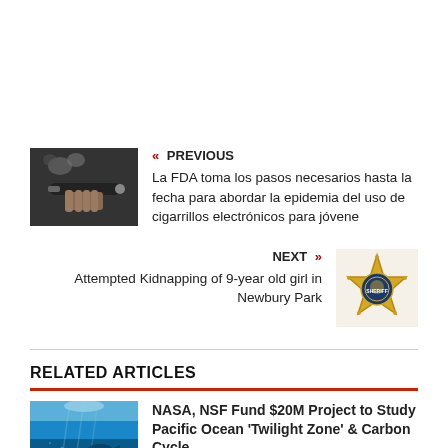« PREVIOUS
La FDA toma los pasos necesarios hasta la fecha para abordar la epidemia del uso de cigarrillos electrónicos para jóvene
NEXT »
Attempted Kidnapping of 9-year old girl in Newbury Park
RELATED ARTICLES
NASA, NSF Fund $20M Project to Study Pacific Ocean 'Twilight Zone' & Carbon Cycle